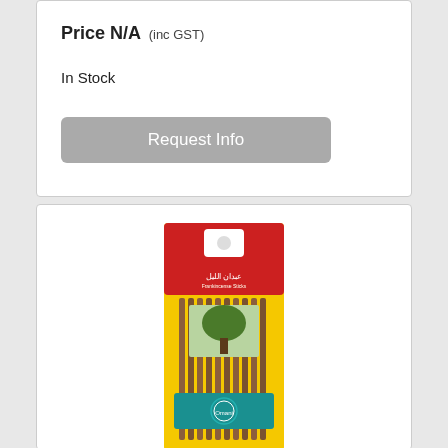premium masala incense
Price N/A (inc GST)
In Stock
Request Info
[Figure (photo): Product photo of a yellow packaged incense stick bundle with a red header card bearing Arabic text and a teal label at the bottom]